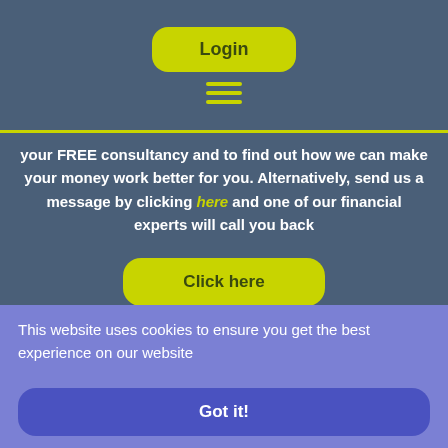[Figure (screenshot): Login button (yellow-green rounded rectangle with text 'Login')]
[Figure (screenshot): Hamburger menu icon (three horizontal yellow-green lines)]
your FREE consultancy and to find out how we can make your money work better for you. Alternatively, send us a message by clicking here and one of our financial experts will call you back
[Figure (screenshot): Click here button (yellow-green rounded rectangle with text 'Click here')]
This website uses cookies to ensure you get the best experience on our website
[Figure (screenshot): Got it! button (blue rounded rectangle with bold white text 'Got it!')]